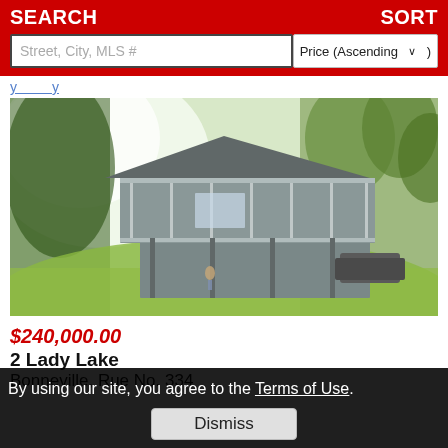SEARCH | SORT | Street, City, MLS # | Price (Ascending)
...y...y...
[Figure (photo): Exterior photo of a two-story lake house/cabin with large wrap-around deck/porch on an elevated hillside, surrounded by trees and green lawn.]
$240,000.00
2 Lady Lake
Bonneville, Rue No. 334
By using our site, you agree to the Terms of Use.
Dismiss